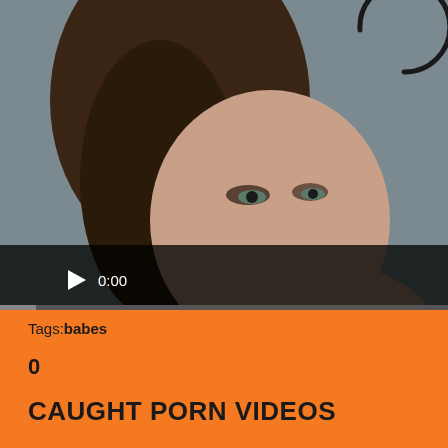[Figure (screenshot): Video player screenshot showing a woman with dark hair and heavy eye makeup. A loading spinner arc is visible in the upper right area of the video. The video controls bar at the bottom shows a play button and timestamp '0:00'. A progress bar is visible at the very bottom of the player.]
Tags: babes
0
CAUGHT PORN VIDEOS